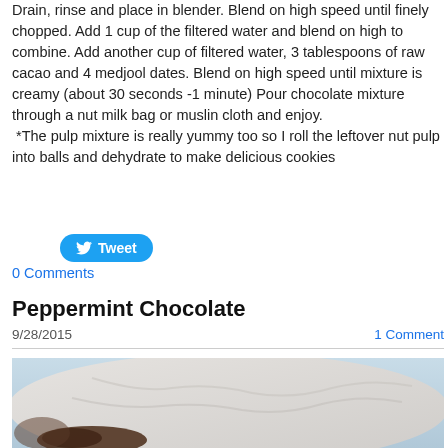Drain, rinse and place in blender. Blend on high speed until finely chopped. Add 1 cup of the filtered water and blend on high to combine. Add another cup of filtered water, 3 tablespoons of raw cacao and 4 medjool dates. Blend on high speed until mixture is creamy (about 30 seconds -1 minute) Pour chocolate mixture through a nut milk bag or muslin cloth and enjoy.
 *The pulp mixture is really yummy too so I roll the leftover nut pulp into balls and dehydrate to make delicious cookies
[Figure (other): Tweet button with Twitter bird icon]
0 Comments
Peppermint Chocolate
9/28/2015    1 Comment
[Figure (photo): Photo of peppermint chocolate, showing a blurry background with what appears to be chocolate pieces on a cloth surface]